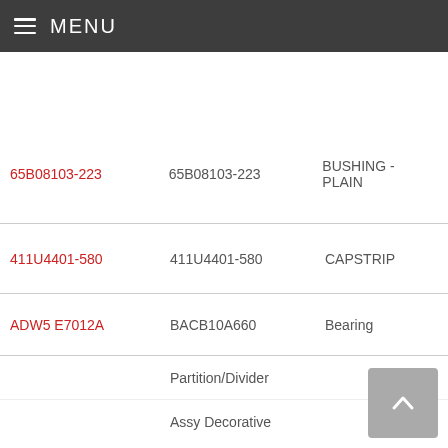MENU
| Part Number (Link) | Part Number | Description |
| --- | --- | --- |
| 65B08103-223 | 65B08103-223 | BUSHING - PLAIN |
| 411U4401-580 | 411U4401-580 | CAPSTRIP |
| ADW5 E7012A | BACB10A660 | Bearing |
|  | Partition/Divider |  |
|  | Assy Decorative |  |